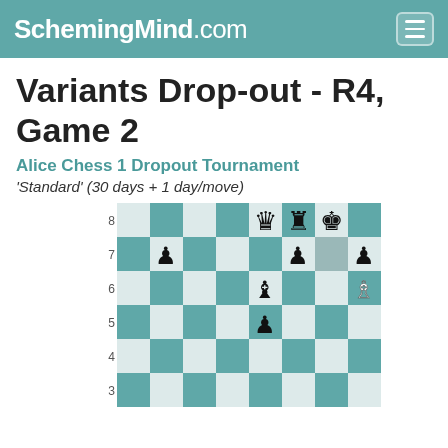SchemingMind.com
Variants Drop-out - R4, Game 2
Alice Chess 1 Dropout Tournament
'Standard' (30 days + 1 day/move)
[Figure (other): Chess board showing position for Variants Drop-out R4 Game 2 Alice Chess tournament. Ranks 3-8 visible. Rank 8: black queen on e8, black rook on f8, black king on g8. Rank 7: black pawn on b7, black pawn on f7, highlighted square on g7, black pawn on h7. Rank 6: black bishop on e6, white bishop on h6. Rank 5: black pawn on e5. Rank 4: empty. Rank 3: empty (partial).]